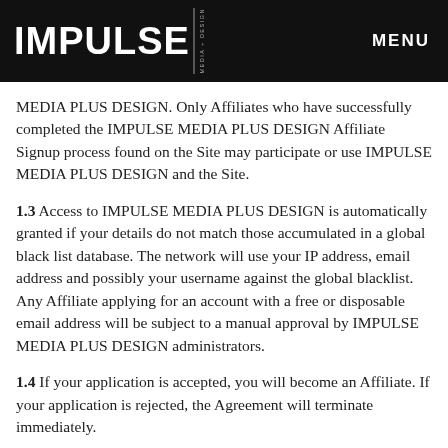IMPULSE MEDIA + DESIGN | MENU
MEDIA PLUS DESIGN. Only Affiliates who have successfully completed the IMPULSE MEDIA PLUS DESIGN Affiliate Signup process found on the Site may participate or use IMPULSE MEDIA PLUS DESIGN and the Site.
1.3 Access to IMPULSE MEDIA PLUS DESIGN is automatically granted if your details do not match those accumulated in a global black list database. The network will use your IP address, email address and possibly your username against the global blacklist. Any Affiliate applying for an account with a free or disposable email address will be subject to a manual approval by IMPULSE MEDIA PLUS DESIGN administrators.
1.4 If your application is accepted, you will become an Affiliate. If your application is rejected, the Agreement will terminate immediately.